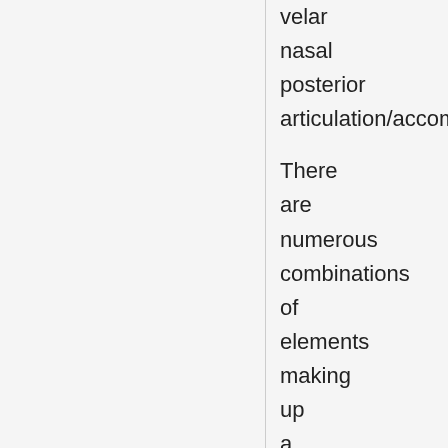velar nasal posterior articulation/accompaniment There are numerous combinations of elements making up a click accompaniment,